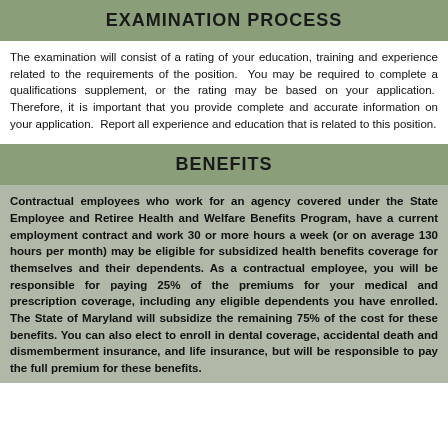EXAMINATION PROCESS
The examination will consist of a rating of your education, training and experience related to the requirements of the position.  You may be required to complete a qualifications supplement, or the rating may be based on your application.  Therefore, it is important that you provide complete and accurate information on your application.  Report all experience and education that is related to this position.
BENEFITS
Contractual employees who work for an agency covered under the State Employee and Retiree Health and Welfare Benefits Program, have a current employment contract and work 30 or more hours a week (or on average 130 hours per month) may be eligible for subsidized health benefits coverage for themselves and their dependents. As a contractual employee, you will be responsible for paying 25% of the premiums for your medical and prescription coverage, including any eligible dependents you have enrolled. The State of Maryland will subsidize the remaining 75% of the cost for these benefits. You can also elect to enroll in dental coverage, accidental death and dismemberment insurance, and life insurance, but will be responsible to pay the full premium for these benefits.